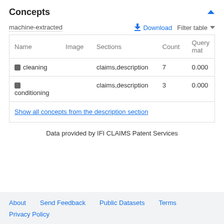Concepts
machine-extracted
| Name | Image | Sections | Count | Query mat |
| --- | --- | --- | --- | --- |
| ■ cleaning |  | claims,description | 7 | 0.000 |
| ■ conditioning |  | claims,description | 3 | 0.000 |
| Show all concepts from the description section |  |  |  |  |
Data provided by IFI CLAIMS Patent Services
About  Send Feedback  Public Datasets  Terms  Privacy Policy